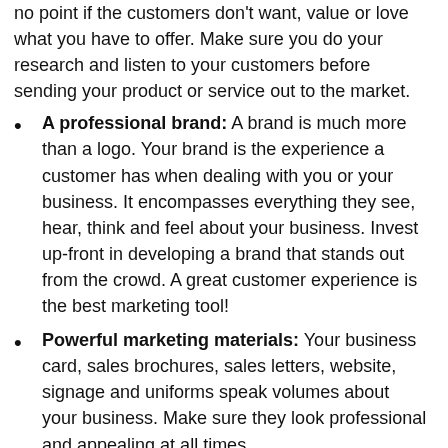no point if the customers don't want, value or love what you have to offer. Make sure you do your research and listen to your customers before sending your product or service out to the market.
A professional brand: A brand is much more than a logo. Your brand is the experience a customer has when dealing with you or your business. It encompasses everything they see, hear, think and feel about your business. Invest up-front in developing a brand that stands out from the crowd. A great customer experience is the best marketing tool!
Powerful marketing materials: Your business card, sales brochures, sales letters, website, signage and uniforms speak volumes about your business. Make sure they look professional and appealing at all times.
An elevator pitch: In the course of marketing your business you'll get asked thousands of times 'What do you do?' Don't make the mistake of boring the poor person who asked the question. Make sure you have a fun, interesting and memorable pitch ready at all times — and be able to deliver it in the time it takes to travel a few